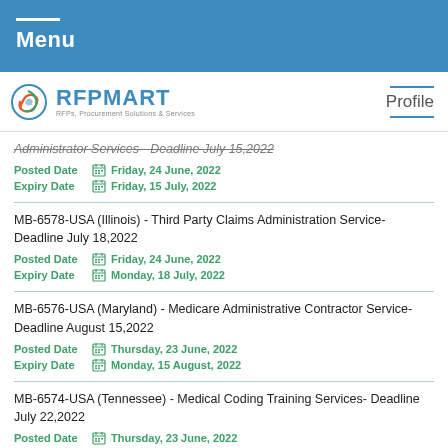Menu
[Figure (logo): RFPMART logo with tagline RFPs, Procurement Solutions & Services]
Administrator Services - Deadline July 15,2022
Posted Date  Friday, 24 June, 2022
Expiry Date  Friday, 15 July, 2022
MB-6578-USA (Illinois) - Third Party Claims Administration Service- Deadline July 18,2022
Posted Date  Friday, 24 June, 2022
Expiry Date  Monday, 18 July, 2022
MB-6576-USA (Maryland) - Medicare Administrative Contractor Service- Deadline August 15,2022
Posted Date  Thursday, 23 June, 2022
Expiry Date  Monday, 15 August, 2022
MB-6574-USA (Tennessee) - Medical Coding Training Services- Deadline July 22,2022
Posted Date  Thursday, 23 June, 2022
Expiry Date  Friday, 22 July, 2022